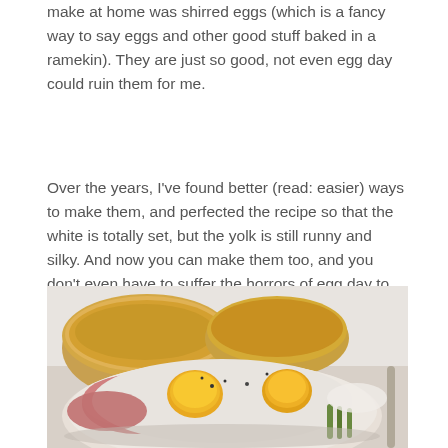make at home was shirred eggs (which is a fancy way to say eggs and other good stuff baked in a ramekin). They are just so good, not even egg day could ruin them for me.
Over the years, I've found better (read: easier) ways to make them, and perfected the recipe so that the white is totally set, but the yolk is still runny and silky. And now you can make them too, and you don't even have to suffer the horrors of egg day to do it ;).
[Figure (photo): A white oval ramekin dish containing shirred eggs with runny yolks, ham, asparagus, and black pepper, alongside toasted English muffins in the background on a white cloth.]